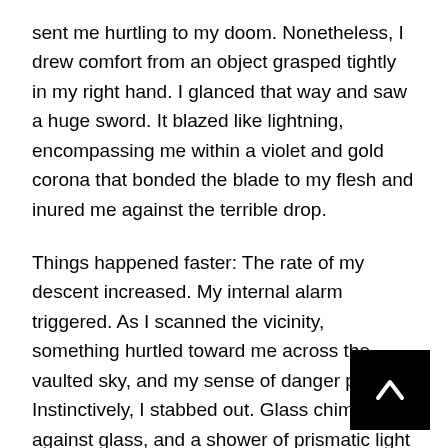sent me hurtling to my doom. Nonetheless, I drew comfort from an object grasped tightly in my right hand. I glanced that way and saw a huge sword. It blazed like lightning, encompassing me within a violet and gold corona that bonded the blade to my flesh and inured me against the terrible drop.
Things happened faster: The rate of my descent increased. My internal alarm triggered. As I scanned the vicinity, something hurtled toward me across the vaulted sky, and my sense of danger peaked. Instinctively, I stabbed out. Glass chimed against glass, and a shower of prismatic light and sparks crisscrossed the heavens with glittering reflections.